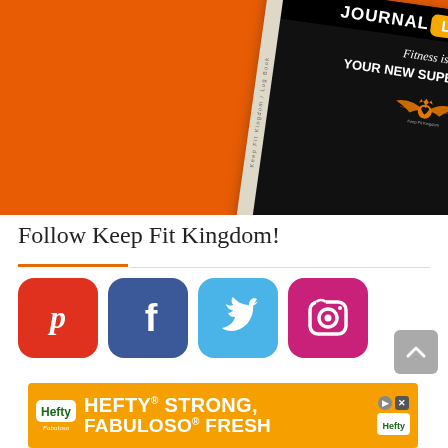[Figure (photo): Product photo of a fitness journal log book on an orange background. The book cover is black with 'JOURNAL LOG BOOK' text, a yellow badge, and text 'Fitness is.... YOUR NEW SUPERPOWER!' with a winged heart logo for Keep Fit Kingdom.]
Follow Keep Fit Kingdom!
[Figure (infographic): Row of four social media icon buttons: Pinterest (red), Facebook (blue), Twitter (light blue), Instagram (pink/magenta). A grey scroll-to-top arrow button is at the right.]
[Figure (infographic): Advertisement banner: Hefty STRONG, FABULOSO FRESH. Orange background with Hefty logo on left and right.]